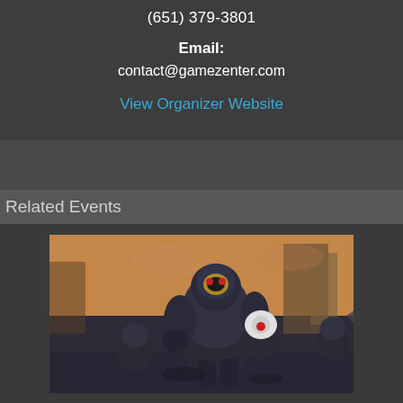(651) 379-3801
Email:
contact@gamezenter.com
View Organizer Website
Related Events
[Figure (illustration): Fantasy/sci-fi illustration showing armored robot-like soldiers in combat, set in a dystopian urban environment. Large central figure is a heavy armored unit with smaller armored soldiers around it.]
Kill Team Meet Up